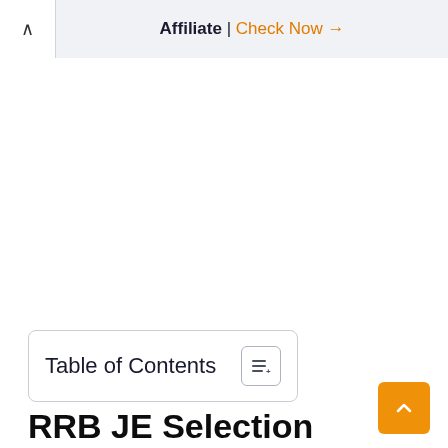Affiliate | Check Now →
Table of Contents
RRB JE Selection Process 2021